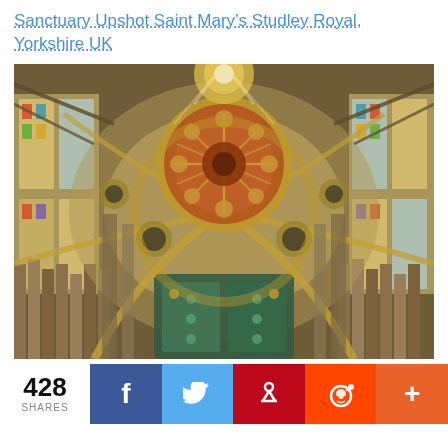Sanctuary Upshot Saint Mary's Studley Royal, Yorkshire UK
[Figure (photo): Upward looking photograph of the ornate ceiling and stained glass windows of Saint Mary's Church, Studley Royal, Yorkshire, UK. The ceiling features a central circular rose motif with gold and red detailing, surrounded by Gothic arches, columns, and colourful stained glass windows.]
428 SHARES
f (Facebook share button)
Twitter share button
Pinterest share button
Reddit share button
+ (More share button)